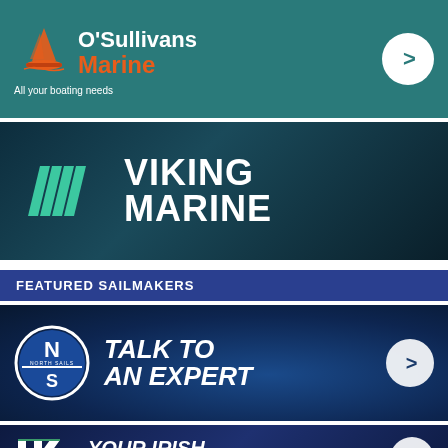[Figure (logo): O'Sullivans Marine advertisement banner with teal background, orange/white sailing logo, text 'O'Sullivans Marine - All your boating needs' and white arrow circle button]
[Figure (logo): Viking Marine advertisement banner with dark ocean background, teal geometric wave logo, and bold white text 'VIKING MARINE']
FEATURED SAILMAKERS
[Figure (logo): North Sails advertisement banner with dark blue background, North Sails circular logo, italic white text 'TALK TO AN EXPERT' and white arrow circle button]
[Figure (logo): Sailmaker advertisement banner with dark blue background, HK logo, italic white text 'YOUR IRISH SAILMAKER' partially visible, and white arrow circle button]